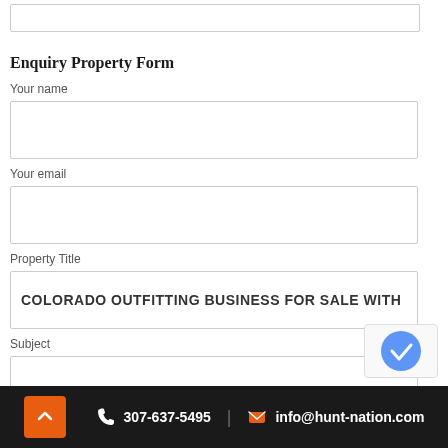[Figure (other): Empty input box at top of page]
Enquiry Property Form
Your name
[Figure (other): Empty text input field for name]
Your email
[Figure (other): Empty text input field for email]
Property Title
[Figure (other): Text input field with value: COLORADO OUTFITTING BUSINESS FOR SALE WITH]
Subject
[Figure (other): Empty text input field for subject]
Your message (optional)
307-637-5495 | info@hunt-nation.com